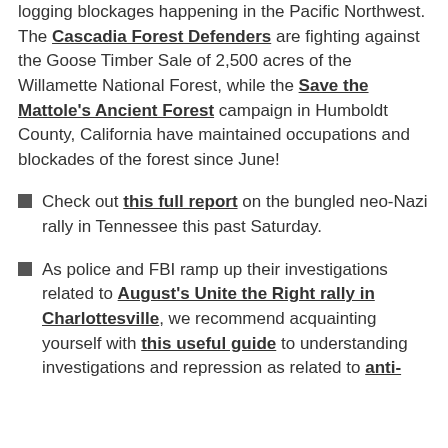logging blockages happening in the Pacific Northwest. The Cascadia Forest Defenders are fighting against the Goose Timber Sale of 2,500 acres of the Willamette National Forest, while the Save the Mattole's Ancient Forest campaign in Humboldt County, California have maintained occupations and blockades of the forest since June!
Check out this full report on the bungled neo-Nazi rally in Tennessee this past Saturday.
As police and FBI ramp up their investigations related to August's Unite the Right rally in Charlottesville, we recommend acquainting yourself with this useful guide to understanding investigations and repression as related to anti-